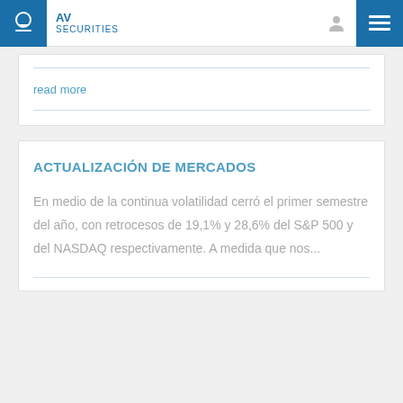AV SECURITIES
read more
ACTUALIZACIÓN DE MERCADOS
En medio de la continua volatilidad cerró el primer semestre del año, con retrocesos de 19,1% y 28,6% del S&P 500 y del NASDAQ respectivamente. A medida que nos...